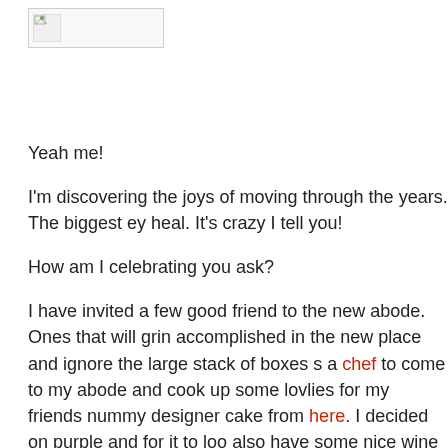[Figure (logo): Small broken image icon placeholder in a rectangular box, top left]
Yeah me!
I'm discovering the joys of moving through the years. The biggest ey heal. It's crazy I tell you!
How am I celebrating you ask?
I have invited a few good friend to the new abode. Ones that will grin accomplished in the new place and ignore the large stack of boxes s a chef to come to my abode and cook up some lovlies for my friends nummy designer cake from here. I decided on purple and for it to loo also have some nice wine for us to dabble in. It should be a very nic
Menu: